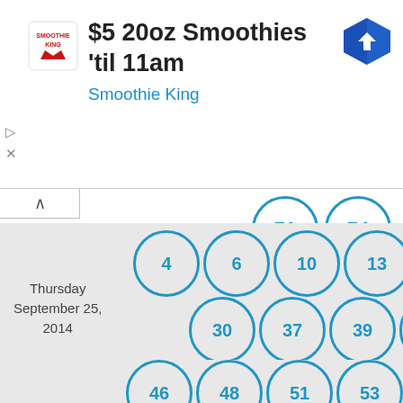[Figure (screenshot): Advertisement banner for Smoothie King: $5 20oz Smoothies 'til 11am with logo and navigation arrow icon]
Thursday
September 25,
2014
[Figure (infographic): Lottery number balls displayed in rows: top partial row showing 71, 74; then rows for date Thursday September 25 2014: 4, 6, 10, 13, 19, 22 / 30, 37, 39, 40 / 46, 48, 51, 53, 54, 55 / 56, 63, 67, 68 / 75, 80; and partial bottom row showing 3, 5, 14, 17, 19, 21]